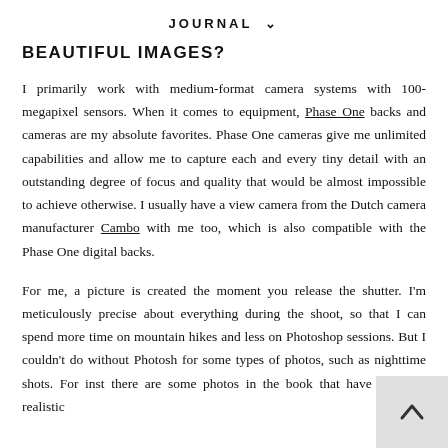JOURNAL ∨
BEAUTIFUL IMAGES?
I primarily work with medium-format camera systems with 100-megapixel sensors. When it comes to equipment, Phase One backs and cameras are my absolute favorites. Phase One cameras give me unlimited capabilities and allow me to capture each and every tiny detail with an outstanding degree of focus and quality that would be almost impossible to achieve otherwise. I usually have a view camera from the Dutch camera manufacturer Cambo with me too, which is also compatible with the Phase One digital backs.
For me, a picture is created the moment you release the shutter. I'm meticulously precise about everything during the shoot, so that I can spend more time on mountain hikes and less on Photoshop sessions. But I couldn't do without Photoshop for some types of photos, such as nighttime shots. For inst there are some photos in the book that have a hyper-realistic